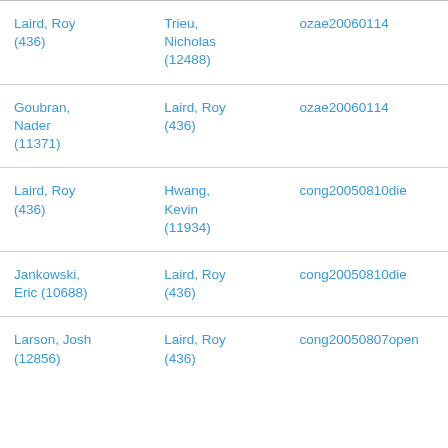| Laird, Roy (436) | Trieu, Nicholas (12488) | ozae20060114 |
| Goubran, Nader (11371) | Laird, Roy (436) | ozae20060114 |
| Laird, Roy (436) | Hwang, Kevin (11934) | cong20050810die |
| Jankowski, Eric (10688) | Laird, Roy (436) | cong20050810die |
| Larson, Josh (12856) | Laird, Roy (436) | cong20050807open |